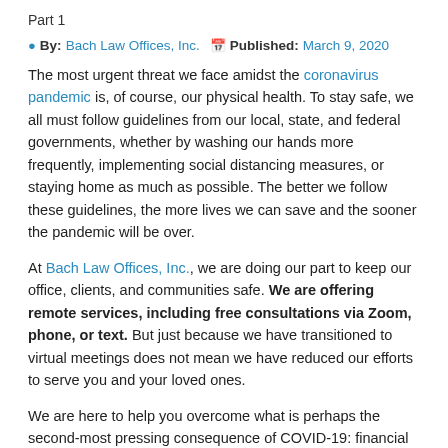Part 1
By: Bach Law Offices, Inc.  Published: March 9, 2020
The most urgent threat we face amidst the coronavirus pandemic is, of course, our physical health. To stay safe, we all must follow guidelines from our local, state, and federal governments, whether by washing our hands more frequently, implementing social distancing measures, or staying home as much as possible. The better we follow these guidelines, the more lives we can save and the sooner the pandemic will be over.
At Bach Law Offices, Inc., we are doing our part to keep our office, clients, and communities safe. We are offering remote services, including free consultations via Zoom, phone, or text. But just because we have transitioned to virtual meetings does not mean we have reduced our efforts to serve you and your loved ones.
We are here to help you overcome what is perhaps the second-most pressing consequence of COVID-19: financial